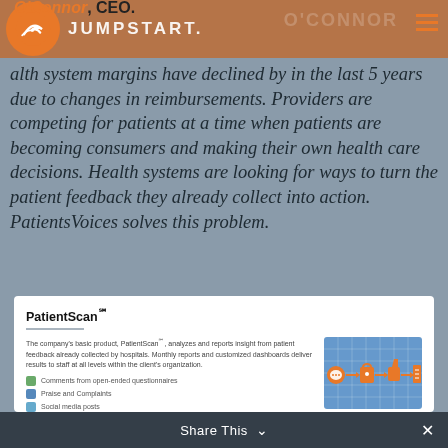O'Connor, CEO. — JUMPSTART.
Health system margins have declined by in the last 5 years due to changes in reimbursements. Providers are competing for patients at a time when patients are becoming consumers and making their own health care decisions. Health systems are looking for ways to turn the patient feedback they already collect into action. PatientsVoices solves this problem.
PatientScan℠
The company's basic product, PatientScan℠, analyzes and reports insight from patient feedback already collected by hospitals. Monthly reports and customized dashboards deliver results to staff at all levels within the client's organization.
Comments from open-ended questionnaires
Praise and Complaints
Social media posts
Online reviews
[Figure (infographic): Dashboard/product screenshot showing colorful icons and charts representing patient feedback analysis]
Share This